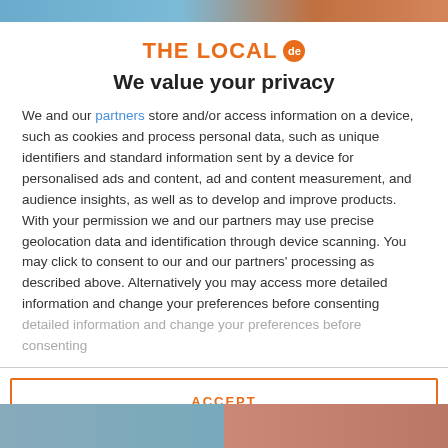[Figure (logo): The Local .de logo with orange text and circular badge]
We value your privacy
We and our partners store and/or access information on a device, such as cookies and process personal data, such as unique identifiers and standard information sent by a device for personalised ads and content, ad and content measurement, and audience insights, as well as to develop and improve products. With your permission we and our partners may use precise geolocation data and identification through device scanning. You may click to consent to our and our partners' processing as described above. Alternatively you may access more detailed information and change your preferences before consenting
ACCEPT
MORE OPTIONS